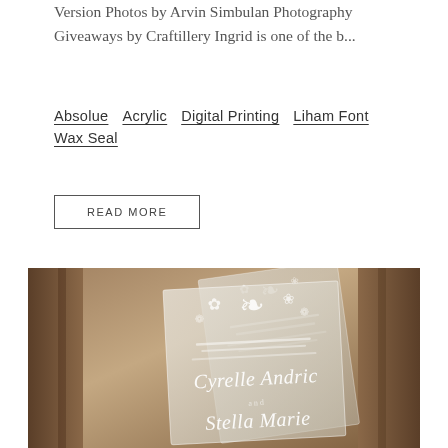Version Photos by Arvin Simbulan Photography Giveaways by Craftillery Ingrid is one of the b...
Absolue   Acrylic   Digital Printing   Liham Font   Wax Seal
READ MORE
[Figure (photo): A photograph of clear acrylic wedding invitation cards with white floral illustrations and calligraphy text reading 'Cyrelle Andric' and 'Stella Marie', displayed against a warm wooden background.]